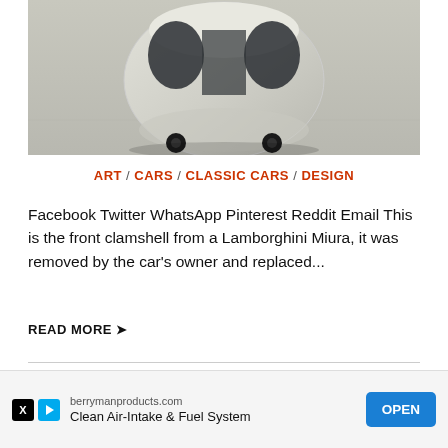[Figure (photo): Front clamshell body panel of a Lamborghini Miura, shaped like an egg/pod with two window cutouts and small wheels, sitting on a warehouse floor]
ART / CARS / CLASSIC CARS / DESIGN
Facebook Twitter WhatsApp Pinterest Reddit Email This is the front clamshell from a Lamborghini Miura, it was removed by the car's owner and replaced...
READ MORE ➤
Still In The Factory Crate: A
berrymanproducts.com Clean Air-Intake & Fuel System OPEN